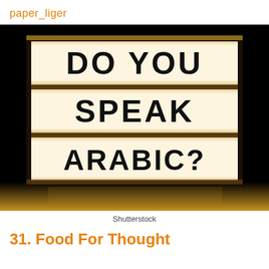paper_liger
[Figure (photo): A lightbox sign on a dark background displaying the text 'DO YOU SPEAK ARABIC?' in large black letters across three illuminated white panels, with a warm glow reflected on the surface below.]
Shutterstock
31. Food For Thought